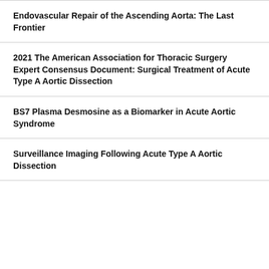Endovascular Repair of the Ascending Aorta: The Last Frontier
2021 The American Association for Thoracic Surgery Expert Consensus Document: Surgical Treatment of Acute Type A Aortic Dissection
BS7 Plasma Desmosine as a Biomarker in Acute Aortic Syndrome
Surveillance Imaging Following Acute Type A Aortic Dissection